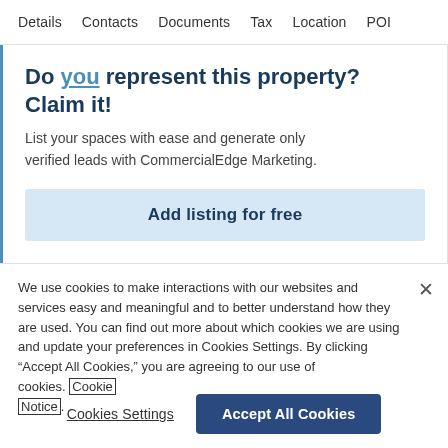Details   Contacts   Documents   Tax   Location   POI
Do you represent this property? Claim it!
List your spaces with ease and generate only verified leads with CommercialEdge Marketing.
Add listing for free
We use cookies to make interactions with our websites and services easy and meaningful and to better understand how they are used. You can find out more about which cookies we are using and update your preferences in Cookies Settings. By clicking “Accept All Cookies,” you are agreeing to our use of cookies. Cookie Notice.
Cookies Settings
Accept All Cookies